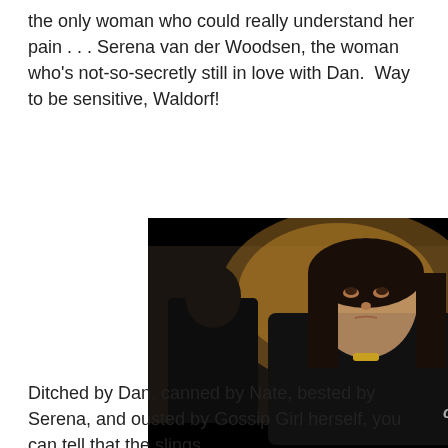the only woman who could really understand her pain . . . Serena van der Woodsen, the woman who's not-so-secretly still in love with Dan.  Way to be sensitive, Waldorf!
[Figure (photo): TV screenshot from The CW showing a dark-haired woman in a black outfit looking upset/angry, with a man visible in the background on the left and a painting on the wall behind them. CW network logo visible in bottom right corner.]
Ditched by Dan, canned by Nate, bested by Serena, and ousted by Gossip Girl herself, you can tell that the slings